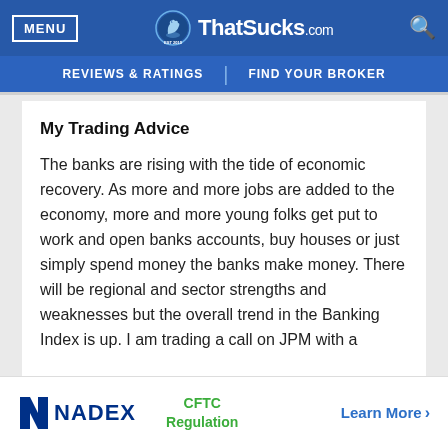MENU | ThatSucks.com | EST 2010
REVIEWS & RATINGS | FIND YOUR BROKER
My Trading Advice
The banks are rising with the tide of economic recovery. As more and more jobs are added to the economy, more and more young folks get put to work and open banks accounts, buy houses or just simply spend money the banks make money. There will be regional and sector strengths and weaknesses but the overall trend in the Banking Index is up. I am trading a call on JPM with a
[Figure (logo): NADEX logo with CFTC Regulation badge and Learn More link]